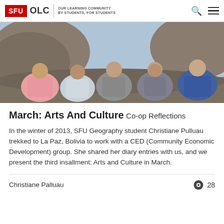SFU OLC | OUR LEARNING COMMUNITY BY STUDENTS, FOR STUDENTS
[Figure (photo): Group of five students sitting outdoors on rocks, smiling, with a rocky hillside in the background.]
March: Arts And Culture
Co-op Reflections
In the winter of 2013, SFU Geography student Christiane Pulluau trekked to La Paz, Bolivia to work with a CED (Community Economic Development) group. She shared her diary entries with us, and we present the third insallment: Arts and Culture in March.
Christiane Palluau
28